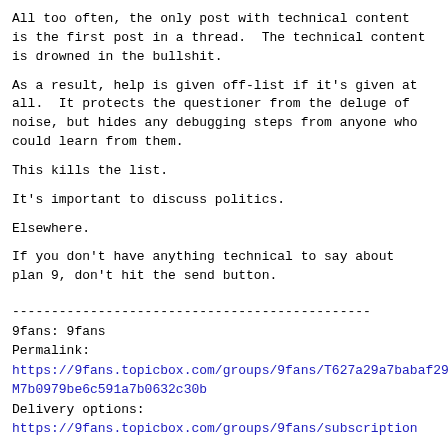All too often, the only post with technical content is the first post in a thread.  The technical content is drowned in the bullshit.
As a result, help is given off-list if it's given at all.  It protects the questioner from the deluge of noise, but hides any debugging steps from anyone who could learn from them.
This kills the list.
It's important to discuss politics.
Elsewhere.
If you don't have anything technical to say about plan 9, don't hit the send button.
----------------------------------------------
9fans: 9fans
Permalink:
https://9fans.topicbox.com/groups/9fans/T627a29a7babaf29eM7b0979be6c591a7b0632c30b
Delivery options:
https://9fans.topicbox.com/groups/9fans/subscription
^ permalink raw reply  [flat|nested] 52+ messages in thread